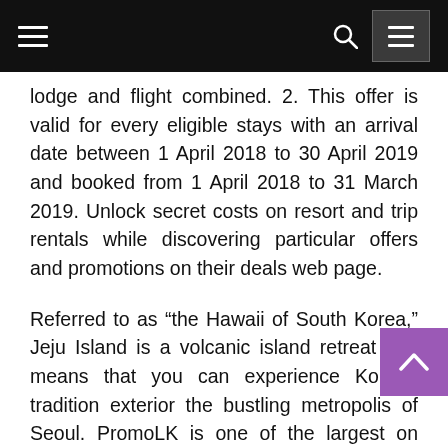Navigation bar with hamburger menu, search icon, and menu button
lodge and flight combined. 2. This offer is valid for every eligible stays with an arrival date between 1 April 2018 to 30 April 2019 and booked from 1 April 2018 to 31 March 2019. Unlock secret costs on resort and trip rentals while discovering particular offers and promotions on their deals web page.
Referred to as “the Hawaii of South Korea,” Jeju Island is a volcanic island retreat that means that you can experience Korean tradition exterior the bustling metropolis of Seoul. PromoLK is one of the largest on marketing hub which promotes Discounts, Gives, Offers, Job vacancies, Occasions,